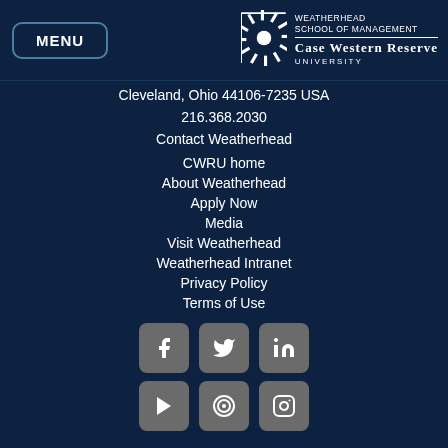MENU | WEATHERHEAD SCHOOL OF MANAGEMENT CASE WESTERN RESERVE UNIVERSITY
Cleveland, Ohio 44106-7235 USA
216.368.2030
Contact Weatherhead
CWRU home
About Weatherhead
Apply Now
Media
Visit Weatherhead
Weatherhead Intranet
Privacy Policy
Terms of Use
[Figure (other): Social media icons: Facebook, Twitter, LinkedIn, YouTube, Pinterest/target icon, Instagram]